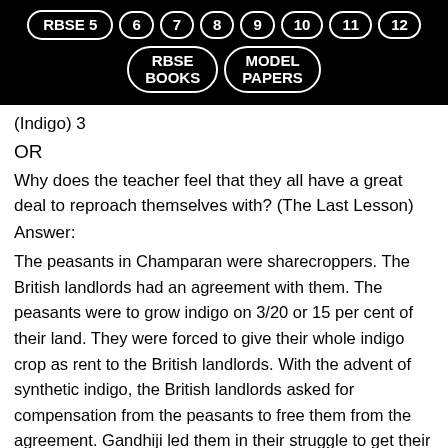RBSE 5  6  7  8  9  10  11  12  RBSE BOOKS  MODEL PAPERS
(Indigo) 3
OR
Why does the teacher feel that they all have a great deal to reproach themselves with? (The Last Lesson)
Answer:
The peasants in Champaran were sharecroppers. The British landlords had an agreement with them. The peasants were to grow indigo on 3/20 or 15 per cent of their land. They were forced to give their whole indigo crop as rent to the British landlords. With the advent of synthetic indigo, the British landlords asked for compensation from the peasants to free them from the agreement. Gandhiji led them in their struggle to get their right and succeeded too. They also learned to behave courageously. The British landlords were so much